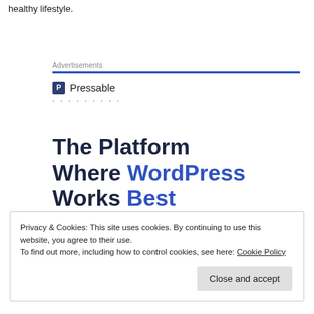healthy lifestyle.
Advertisements
[Figure (logo): Pressable logo with icon and name]
· · · · · · · · ·
The Platform Where WordPress Works Best
Privacy & Cookies: This site uses cookies. By continuing to use this website, you agree to their use.
To find out more, including how to control cookies, see here: Cookie Policy
exercises done a certain number of times, each in three to four